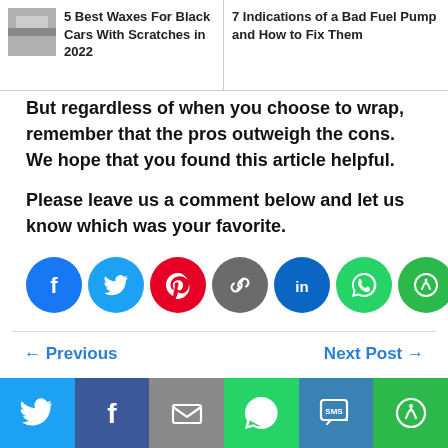5 Best Waxes For Black Cars With Scratches in 2022 | 7 Indications of a Bad Fuel Pump and How to Fix Them
But regardless of when you choose to wrap, remember that the pros outweigh the cons. We hope that you found this article helpful.
Please leave us a comment below and let us know which was your favorite.
[Figure (infographic): Seven circular social media share buttons: Facebook (blue), Twitter (light blue), Pinterest (red), Copy Link (gray), LinkedIn (blue), WhatsApp (green), Mystery/More (green)]
← Previous | Next Post →
[Figure (infographic): Bottom share bar with six colored buttons: Twitter (blue), Facebook (dark blue), Email (gray), WhatsApp (green), SMS (blue), More (green)]